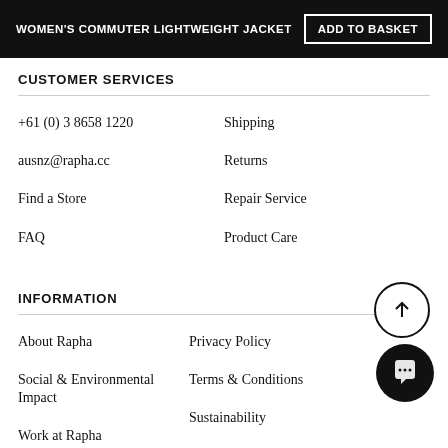WOMEN'S COMMUTER LIGHTWEIGHT JACKET | ADD TO BASKET
CUSTOMER SERVICES
+61 (0) 3 8658 1220
Shipping
ausnz@rapha.cc
Returns
Find a Store
Repair Service
FAQ
Product Care
INFORMATION
About Rapha
Privacy Policy
Social & Environmental Impact
Terms & Conditions
Work at Rapha
Sustainability
Rapha Foundation
Modern Slavery Statement